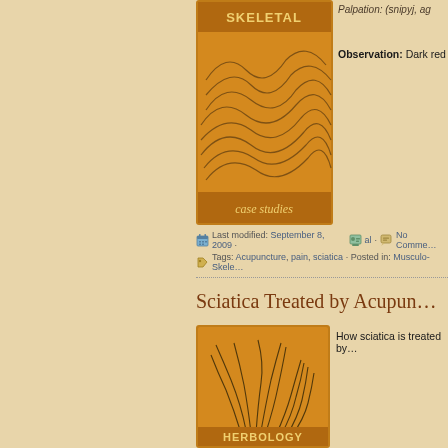[Figure (illustration): Orange/golden skeletal case studies card with wavy grass-like lines and 'SKELETAL case studies' text]
Palpation: (snipyj, rig...
Observation: Dark red a...
Last modified: September 8, 2009 · al · No Comme...
Tags: Acupuncture, pain, sciatica · Posted in: Musculo-Skele...
Sciatica Treated by Acupun...
[Figure (illustration): Orange/golden herbology card with botanical grass/plant illustrations and 'HERBOLOGY' text at bottom]
How sciatica is treated by...